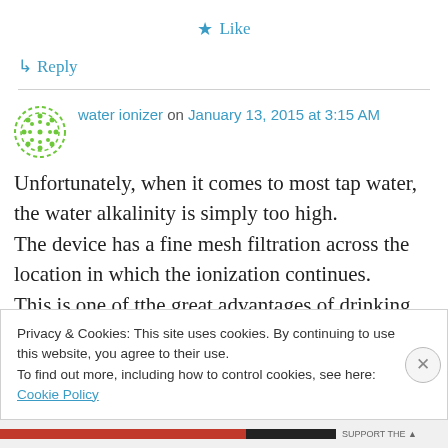★ Like
↳ Reply
water ionizer on January 13, 2015 at 3:15 AM
Unfortunately, when it comes to most tap water, the water alkalinity is simply too high. The device has a fine mesh filtration across the location in which the ionization continues. This is one of tthe great advantages of drinking
Privacy & Cookies: This site uses cookies. By continuing to use this website, you agree to their use. To find out more, including how to control cookies, see here: Cookie Policy
Close and accept